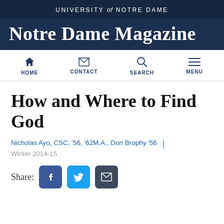UNIVERSITY of NOTRE DAME
Notre Dame Magazine
[Figure (infographic): Navigation bar with icons: HOME (house icon), CONTACT (envelope icon), SEARCH (magnifying glass icon), MENU (hamburger icon)]
How and Where to Find God
Nicholas Ayo, CSC, '56, '62M.A., Don Brophy '56 | Winter 2014-15
[Figure (infographic): Share buttons: Facebook (blue), Twitter (cyan), Email (dark gray)]